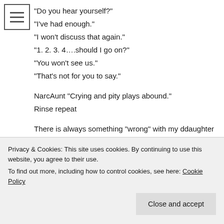☰ (menu icon)
"Do you hear yourself?"
"I've had enough."
"I won't discuss that again."
"1. 2. 3. 4….should I go on?"
"You won't see us."
"That's not for you to say."
NarcAunt "Crying and pity plays abound."
Rinse repeat
There is always something “wrong” with my ddaughter and there’s always something I could have or should be doing about it. It’s insanity. I should post some of our text conversations.
Privacy & Cookies: This site uses cookies. By continuing to use this website, you agree to their use.
To find out more, including how to control cookies, see here: Cookie Policy
Close and accept